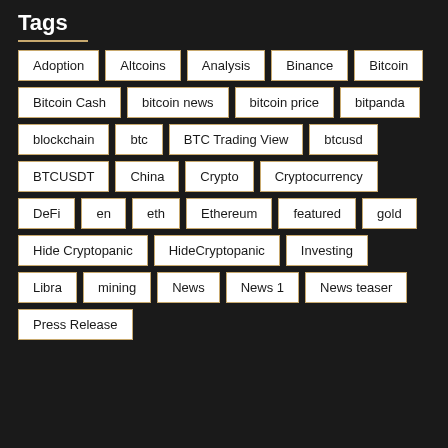Tags
Adoption
Altcoins
Analysis
Binance
Bitcoin
Bitcoin Cash
bitcoin news
bitcoin price
bitpanda
blockchain
btc
BTC Trading View
btcusd
BTCUSDT
China
Crypto
Cryptocurrency
DeFi
en
eth
Ethereum
featured
gold
Hide Cryptopanic
HideCryptopanic
Investing
Libra
mining
News
News 1
News teaser
Press Release